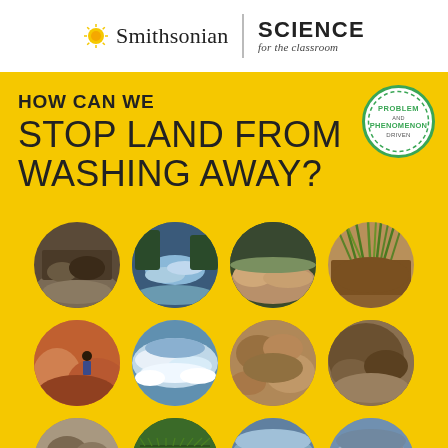[Figure (logo): Smithsonian Science for the Classroom logo header with sun icon, Smithsonian wordmark, vertical divider, and SCIENCE for the classroom text]
HOW CAN WE STOP LAND FROM WASHING AWAY?
[Figure (illustration): Green circular badge/seal reading PROBLEM AND PHENOMENON DRIVEN]
[Figure (photo): Grid of 12 circular photo thumbnails showing various erosion and land/water/soil scenes on a yellow background: landslide, rushing water, eroded creek, grass tuft with soil, person near canyon, white water rapids, dry soil, brown soil, rocky soil, fern/plant rows, rocks in stream, water flowing over rocks]